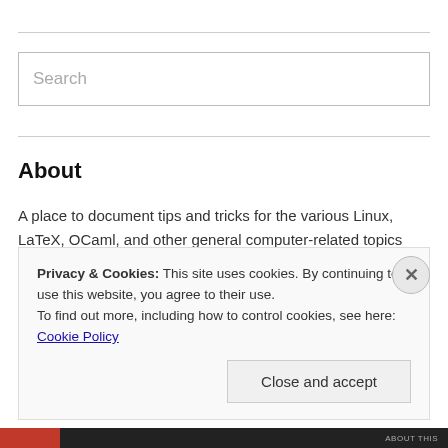Search
About
A place to document tips and tricks for the various Linux, LaTeX, OCaml, and other general computer-related topics that I encounter in my daily life and a repository for supposedly amusing observations, hyperlinks, recipes, reviews, travelogues, and political opinions written when I have a spare moment (or when I don't have a spare moment, but
Privacy & Cookies: This site uses cookies. By continuing to use this website, you agree to their use.
To find out more, including how to control cookies, see here: Cookie Policy
Close and accept